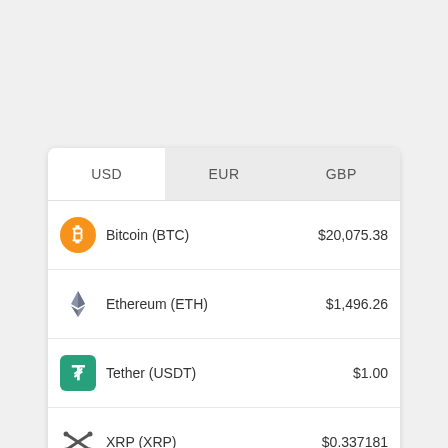| USD | EUR | GBP |
| --- | --- | --- |
| Bitcoin (BTC) |  | $20,075.38 |
| Ethereum (ETH) |  | $1,496.26 |
| Tether (USDT) |  | $1.00 |
| XRP (XRP) |  | $0.337181 |
| Litecoin (LTC) |  | $53.10 |
| Dogecoin (DOGE) |  | $0.06279 |